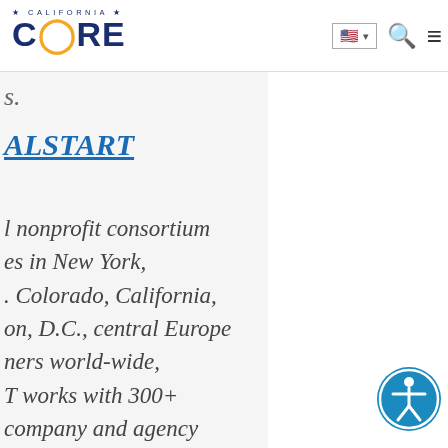California CORE — navigation bar with logo, flag/language selector, search, and menu icons
s.
ALSTART
l nonprofit consortium es in New York, . Colorado, California, on, D.C., central Europe ners world-wide, T works with 300+ company and agency s to build a us, efficient and clean n transportation